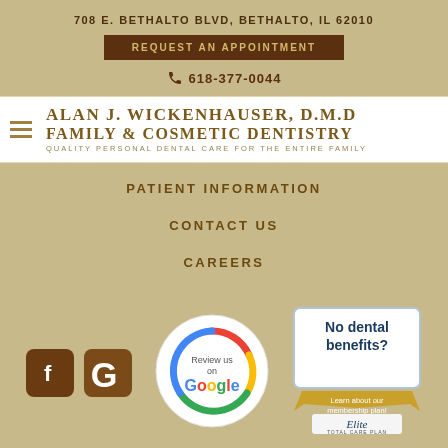708 E. BETHALTO BLVD, BETHALTO, IL 62010
REQUEST AN APPOINTMENT
618-377-0044
ALAN J. WICKENHAUSER, D.M.D FAMILY & COSMETIC DENTISTRY QUALITY PERSONAL DENTAL CARE FOR THE ENTIRE FAMILY
PATIENT INFORMATION
CONTACT US
CAREERS
[Figure (logo): Facebook logo icon — brown square with white F]
[Figure (logo): Google logo icon — brown square with white G]
[Figure (logo): Review us on Google circular badge with Google multicolor logo]
[Figure (logo): No dental benefits? Learn about our membership plan! Elite Total Care Plan badge]